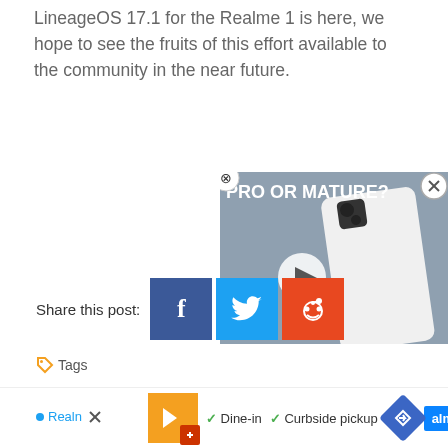LineageOS 17.1 for the Realme 1 is here, we hope to see the fruits of this effort available to the community in the near future.
[Figure (screenshot): Video popup overlay showing a smartphone with text 'PRO OR MATURE?' and a play button, with close (X) button in top-right corner]
[Figure (screenshot): Share this post row with Facebook, Twitter, and Reddit share buttons]
[Figure (screenshot): Tags row showing tag icon, 'Tags' label, Realme tag, and an ad overlay with orange icon, Dine-in, Curbside pickup checkmarks, direction icon, and realme button]